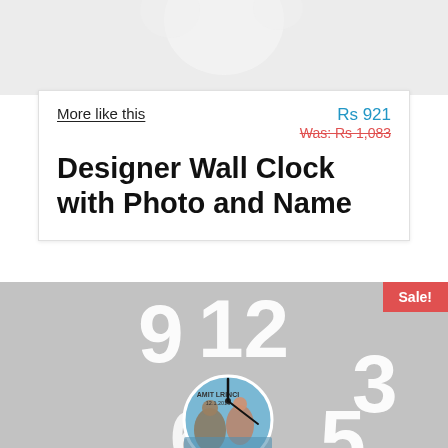[Figure (photo): Partial product image at top of page, cut off]
More like this
Rs 921
Was: Rs 1,083
Designer Wall Clock with Photo and Name
[Figure (photo): Designer wall clock product photo showing a white shaped clock with large numeral cutouts (9, 12, 3, 5) and a circular photo insert of a couple, with clock hands and a name printed on it. A red Sale! badge is in the top-right corner.]